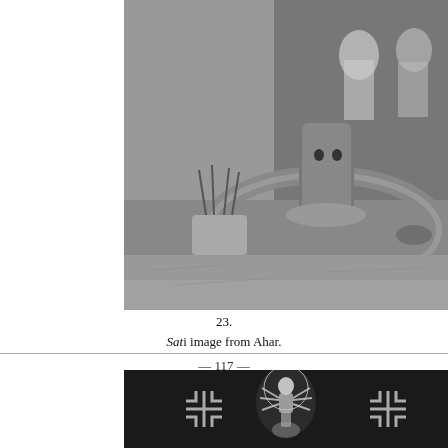[Figure (photo): Black and white photograph of a Sati image (lingam with carved face) in a circular stone basin, with incense sticks in a clay holder to the left, and draped figures in the background. From Ahar.]
23.
Sati image from Ahar.
— 117 —
[Figure (photo): Black and white photograph showing swastika symbols and a multi-armed goddess (Durga/Devi) figure in white on a dark background, with decorative elements.]